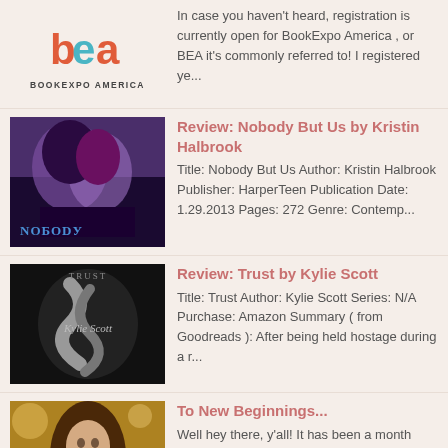[Figure (logo): BookExpo America (BEA) logo with colorful 'bea' lettering and 'BOOKEXPO AMERICA' text below]
In case you haven't heard, registration is currently open for BookExpo America , or BEA it's commonly referred to! I registered ye...
[Figure (photo): Book cover for Nobody But Us by Kristin Halbrook showing two people with purple hair]
Review: Nobody But Us by Kristin Halbrook
Title: Nobody But Us Author: Kristin Halbrook Publisher: HarperTeen Publication Date: 1.29.2013 Pages: 272 Genre: Contemp...
[Figure (photo): Book cover for Trust by Kylie Scott showing dark moody design]
Review: Trust by Kylie Scott
Title: Trust Author: Kylie Scott Series: N/A Purchase: Amazon Summary ( from Goodreads ): After being held hostage during a r...
[Figure (photo): Cover image for To New Beginnings post showing a woman with long brown hair]
To New Beginnings...
Well hey there, y'all! It has been a month (okay, year ) of Sundays since I was last here, but I wanted to share some excited news....